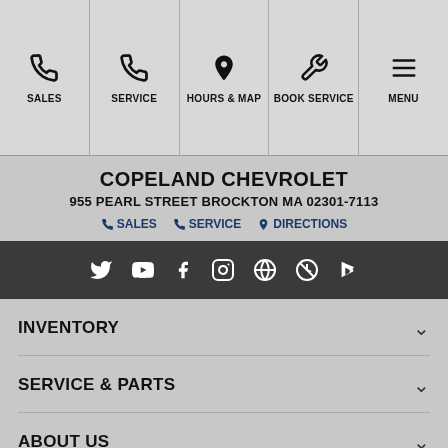[Figure (screenshot): Top navigation bar with Sales, Service, Hours & Map, Book Service, and Menu options with icons]
COPELAND CHEVROLET
955 PEARL STREET BROCKTON MA 02301-7113
SALES  SERVICE  DIRECTIONS
[Figure (infographic): Dark social media bar with Twitter, YouTube, Facebook, Instagram, and other social icons in white]
INVENTORY
SERVICE & PARTS
ABOUT US
Privacy Policy | AdChoices
VALUE YOUR TRADE